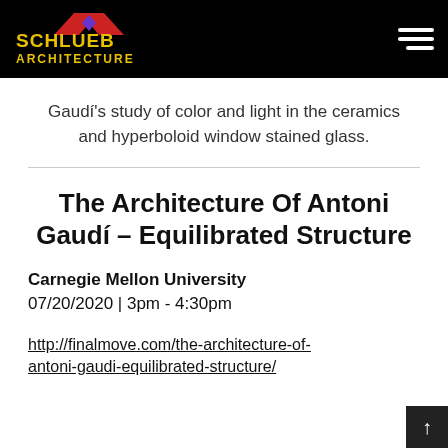Schlueb Architecture
Gaudí's study of color and light in the ceramics and hyperboloid window stained glass.
The Architecture Of Antoni Gaudí – Equilibrated Structure
Carnegie Mellon University
07/20/2020 | 3pm - 4:30pm
http://finalmove.com/the-architecture-of-antoni-gaudi-equilibrated-structure/